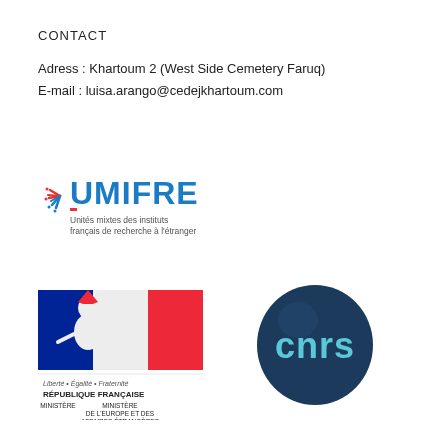CONTACT
Adress : Khartoum 2 (West Side Cemetery Faruq)
E-mail : luisa.arango@cedejkhartoum.com
[Figure (logo): UMIFRE logo — Unités mixtes des instituts français de recherche à l'étranger]
[Figure (logo): République Française — Ministère de l'Europe et des Affaires Étrangères logo with Marianne symbol and tricolor]
[Figure (logo): CNRS logo — dark blue circle with 'cnrs' text in light blue]